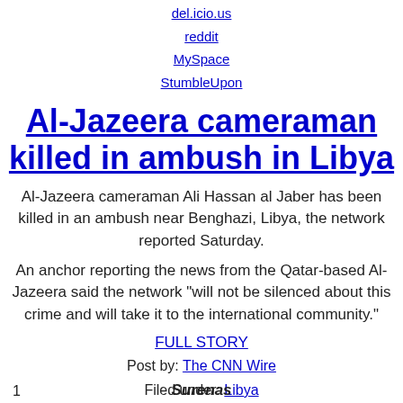del.icio.us
reddit
MySpace
StumbleUpon
Al-Jazeera cameraman killed in ambush in Libya
Al-Jazeera cameraman Ali Hassan al Jaber has been killed in an ambush near Benghazi, Libya, the network reported Saturday.
An anchor reporting the news from the Qatar-based Al-Jazeera said the network "will not be silenced about this crime and will take it to the international community."
FULL STORY
Post by: The CNN Wire
Filed under: Libya
soundoff (74 Responses)
1
Surenas